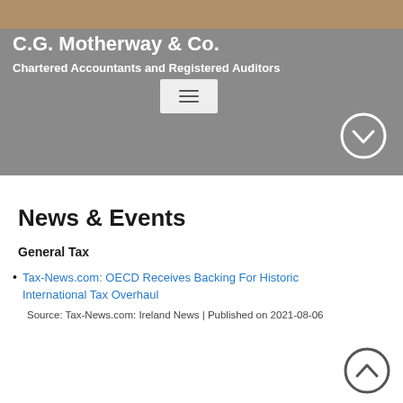[Figure (screenshot): Hero banner with photo strip at top, grey background, showing company name and subtitle in white text, a hamburger menu icon, and a chevron-down circle button]
C.G. Motherway & Co.
Chartered Accountants and Registered Auditors
News & Events
General Tax
Tax-News.com: OECD Receives Backing For Historic International Tax Overhaul
Source: Tax-News.com: Ireland News | Published on 2021-08-06